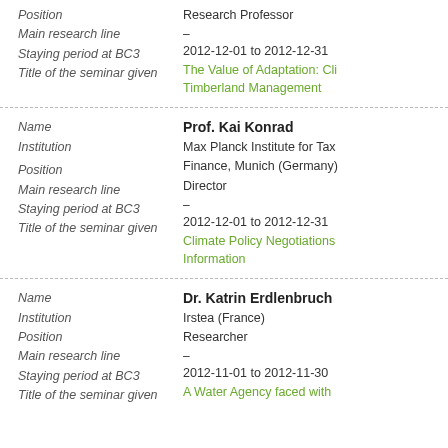| Field | Value |
| --- | --- |
| Position | Research Professor |
| Main research line | – |
| Staying period at BC3 | 2012-12-01 to 2012-12-31 |
| Title of the seminar given | The Value of Adaptation: Cli Timberland Management |
| Field | Value |
| --- | --- |
| Name | Prof. Kai Konrad |
| Institution | Max Planck Institute for Tax Finance, Munich (Germany) |
| Position | Director |
| Main research line | – |
| Staying period at BC3 | 2012-12-01 to 2012-12-31 |
| Title of the seminar given | Climate Policy Negotiations Information |
| Field | Value |
| --- | --- |
| Name | Dr. Katrin Erdlenbruch |
| Institution | Irstea (France) |
| Position | Researcher |
| Main research line | – |
| Staying period at BC3 | 2012-11-01 to 2012-11-30 |
| Title of the seminar given | A Water Agency faced with |